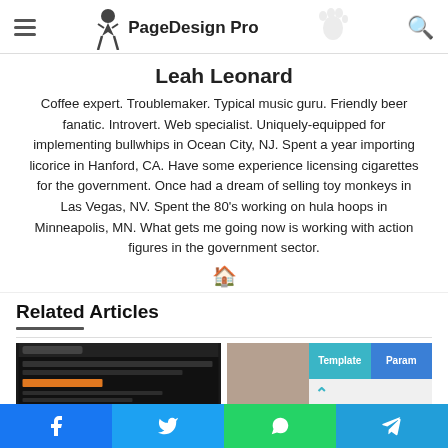PageDesign Pro
Leah Leonard
Coffee expert. Troublemaker. Typical music guru. Friendly beer fanatic. Introvert. Web specialist. Uniquely-equipped for implementing bullwhips in Ocean City, NJ. Spent a year importing licorice in Hanford, CA. Have some experience licensing cigarettes for the government. Once had a dream of selling toy monkeys in Las Vegas, NV. Spent the 80's working on hula hoops in Minneapolis, MN. What gets me going now is working with action figures in the government sector.
Related Articles
[Figure (screenshot): Screenshot thumbnail of a webpage]
[Figure (infographic): Thumbnail showing Template and Param tags with teal and blue colored blocks]